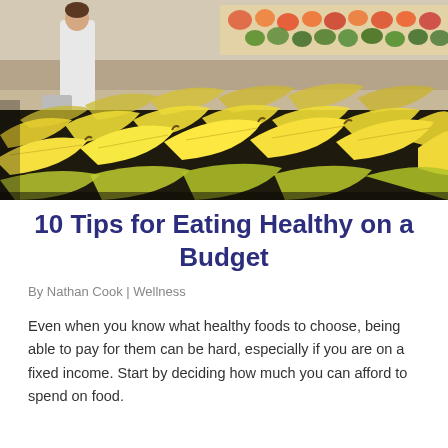[Figure (photo): Grocery store produce section with rows of yellow bananas stacked on display counters; a person in a white coat visible in the background shopping.]
10 Tips for Eating Healthy on a Budget
By Nathan Cook  |  Wellness
Even when you know what healthy foods to choose, being able to pay for them can be hard, especially if you are on a fixed income. Start by deciding how much you can afford to spend on food.